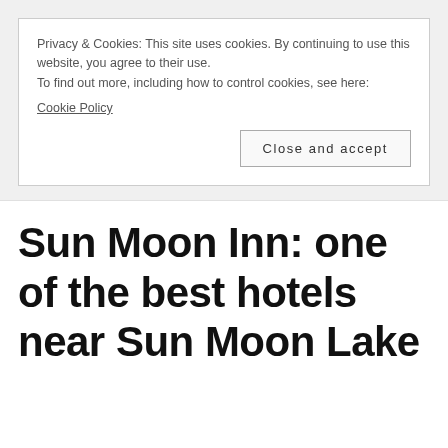Privacy & Cookies: This site uses cookies. By continuing to use this website, you agree to their use.
To find out more, including how to control cookies, see here:
Cookie Policy
Close and accept
Sun Moon Inn: one of the best hotels near Sun Moon Lake